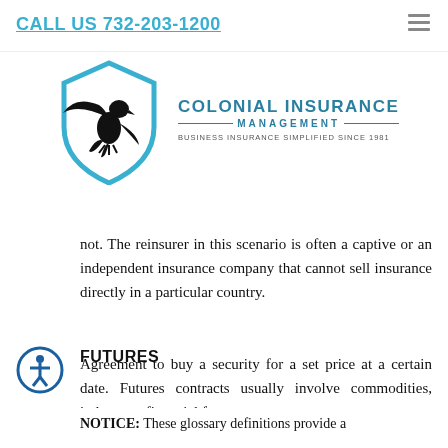CALL US 732-203-1200
[Figure (logo): Colonial Insurance Management logo — blue shield with black eagle, text reads COLONIAL INSURANCE MANAGEMENT - Business Insurance Simplified Since 1981]
not. The reinsurer in this scenario is often a captive or an independent insurance company that cannot sell insurance directly in a particular country.
FUTURES
Agreement to buy a security for a set price at a certain date. Futures contracts usually involve commodities, indexes or financial futures.
[Figure (illustration): Accessibility icon — person in circle outline]
NOTICE: These glossary definitions provide a